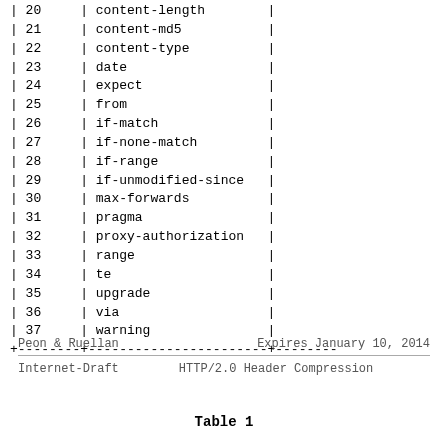|  |  |
| --- | --- |
| 20 | content-length |
| 21 | content-md5 |
| 22 | content-type |
| 23 | date |
| 24 | expect |
| 25 | from |
| 26 | if-match |
| 27 | if-none-match |
| 28 | if-range |
| 29 | if-unmodified-since |
| 30 | max-forwards |
| 31 | pragma |
| 32 | proxy-authorization |
| 33 | range |
| 34 | te |
| 35 | upgrade |
| 36 | via |
| 37 | warning |
Peon & Ruellan                    Expires January 10, 2014
Internet-Draft          HTTP/2.0 Header Compression
Table 1